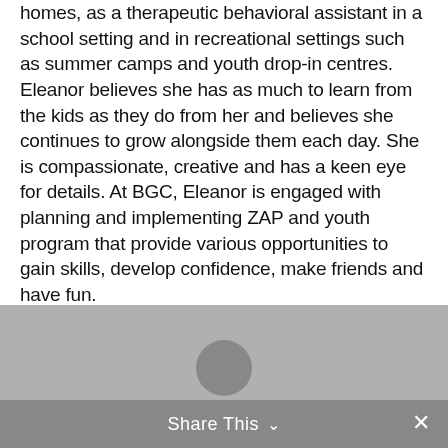homes, as a therapeutic behavioral assistant in a school setting and in recreational settings such as summer camps and youth drop-in centres. Eleanor believes she has as much to learn from the kids as they do from her and believes she continues to grow alongside them each day. She is compassionate, creative and has a keen eye for details. At BGC, Eleanor is engaged with planning and implementing ZAP and youth program that provide various opportunities to gain skills, develop confidence, make friends and have fun.
[Figure (photo): A person (partial photo, cropped) visible at the bottom of the page against a gray background.]
Share This ∨  ✕